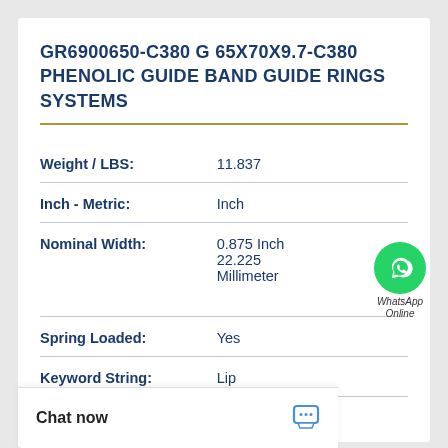GR6900650-C380 G 65X70X9.7-C380 PHENOLIC GUIDE BAND GUIDE RINGS SYSTEMS
| Property | Value |
| --- | --- |
| Weight / LBS: | 11.837 |
| Inch - Metric: | Inch |
| Nominal Width: | 0.875 Inch
22.225 Millimeter |
| Spring Loaded: | Yes |
| Keyword String: | Lip |
|  | Large / With Inner Conv/... |
[Figure (logo): WhatsApp Online button - green circular icon with phone handset, labeled WhatsApp Online]
Chat now